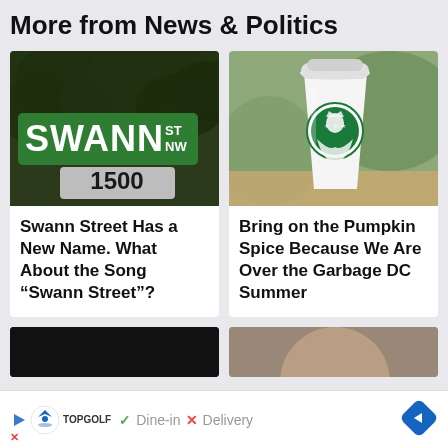More from News & Politics
[Figure (photo): Street sign reading SWANN ST NW 1500 on a green background with trees]
Swann Street Has a New Name. What About the Song “Swann Street”?
[Figure (photo): White Starbucks coffee cup with green Starbucks logo on a wooden surface with blurred green background]
Bring on the Pumpkin Spice Because We Are Over the Garbage DC Summer
[Figure (photo): Bottom left thumbnail, dark/black image partially visible]
[Figure (photo): Bottom right thumbnail, partial face visible]
Dine-in  ×  Delivery